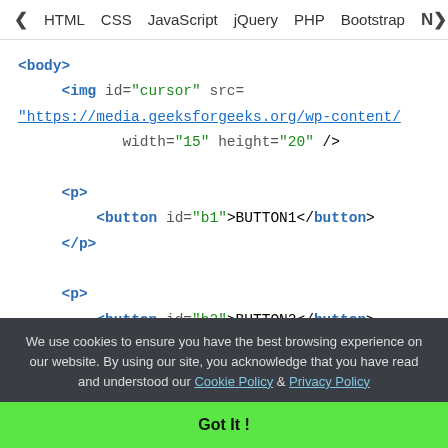< HTML   CSS   JavaScript   jQuery   PHP   Bootstrap   N>
<body>
    <img id="cursor" src=
"https://media.geeksforgeeks.org/wp-content/"
            width="15" height="20" />

    <p>
        <button id="b1">BUTTON1</button>
    </p>

    <p>
        <button id="b2">BUTTON2</button>
    </p>

    <script>
We use cookies to ensure you have the best browsing experience on our website. By using our site, you acknowledge that you have read and understood our Cookie Policy & Privacy Policy
Got It !